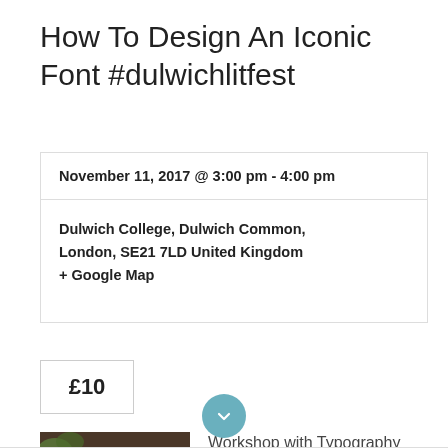How To Design An Iconic Font #dulwichlitfest
| November 11, 2017 @ 3:00 pm - 4:00 pm |
| Dulwich College, Dulwich Common, London, SE21 7LD United Kingdom + Google Map |
£10
[Figure (photo): Photo of folded paper books and bookbinding materials on a table]
Workshop with Typography Deisgner Susan Wightman
Find out more »